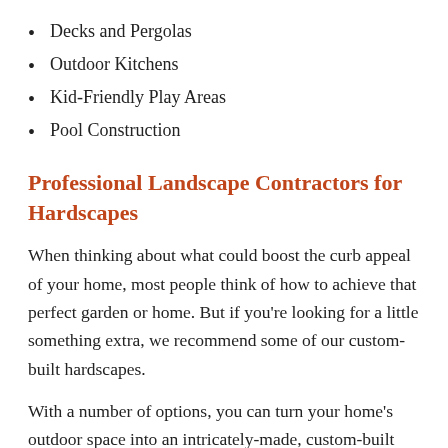Decks and Pergolas
Outdoor Kitchens
Kid-Friendly Play Areas
Pool Construction
Professional Landscape Contractors for Hardscapes
When thinking about what could boost the curb appeal of your home, most people think of how to achieve that perfect garden or home. But if you're looking for a little something extra, we recommend some of our custom-built hardscapes.
With a number of options, you can turn your home's outdoor space into an intricately-made, custom-built sanctuary. Our hardscaping services include:
Wicker Furniture...